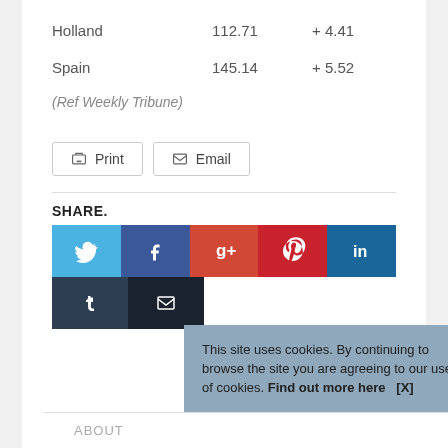| Country | Value | Change |
| --- | --- | --- |
| Holland | 112.71 | + 4.41 |
| Spain | 145.14 | + 5.52 |
(Ref Weekly Tribune)
Print  Email
SHARE.
[Figure (infographic): Social sharing buttons: Twitter, Facebook, Google+, Pinterest, LinkedIn, Tumblr, Email]
This site uses cookies. By continuing to browse the site you are agreeing to our use of cookies. Find out more here   [X]
ABOUT